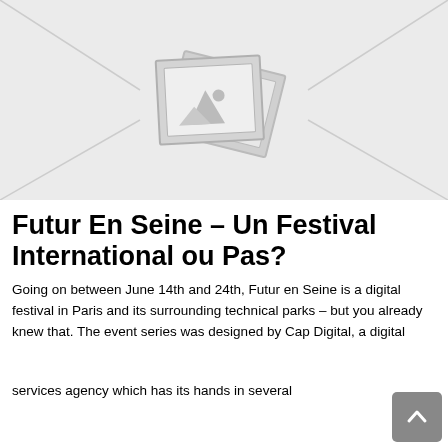[Figure (photo): Placeholder image graphic showing two overlapping photo frames with a mountain/landscape icon, on a light grey background with diagonal corner lines.]
Futur En Seine – Un Festival International ou Pas?
Going on between June 14th and 24th, Futur en Seine is a digital festival in Paris and its surrounding technical parks – but you already knew that. The event series was designed by Cap Digital, a digital services agency which has its hands in several…